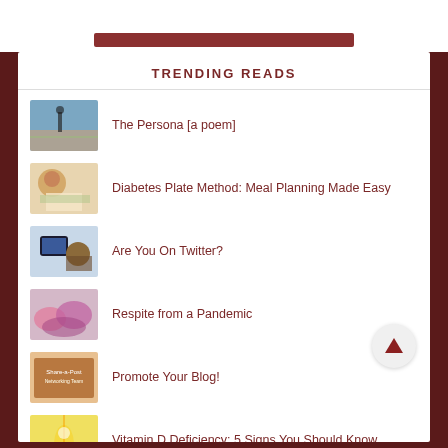TRENDING READS
The Persona [a poem]
Diabetes Plate Method: Meal Planning Made Easy
Are You On Twitter?
Respite from a Pandemic
Promote Your Blog!
Vitamin D Deficiency: 5 Signs You Should Know
A Small Voice from Within [a poem]